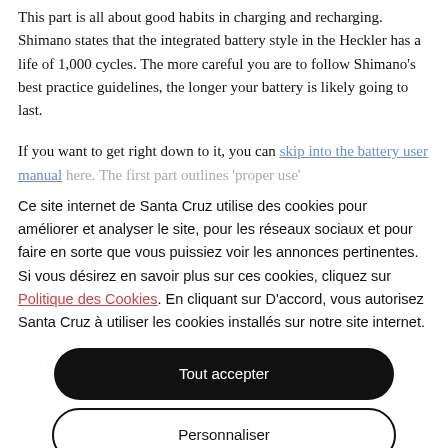This part is all about good habits in charging and recharging. Shimano states that the integrated battery style in the Heckler has a life of 1,000 cycles. The more careful you are to follow Shimano's best practice guidelines, the longer your battery is likely going to last.
If you want to get right down to it, you can skip into the battery user manual here. The first part outlines 'proper use'...
Ce site internet de Santa Cruz utilise des cookies pour améliorer et analyser le site, pour les réseaux sociaux et pour faire en sorte que vous puissiez voir les annonces pertinentes. Si vous désirez en savoir plus sur ces cookies, cliquez sur Politique des Cookies. En cliquant sur D'accord, vous autorisez Santa Cruz à utiliser les cookies installés sur notre site internet.
Tout accepter
Personnaliser
Refuser tout
The point at which... per into your system just step... tailer and hand your bike... Shimano's taken the time to provide... r shops selling their systems, and it's best to let your local pros handle the rest. This also ensures that repairs are conducted by a Shimano authorized dealer, which gives you a form...